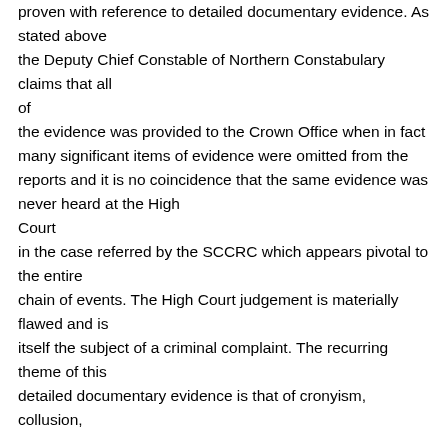proven with reference to detailed documentary evidence. As stated above the Deputy Chief Constable of Northern Constabulary claims that all of the evidence was provided to the Crown Office when in fact many significant items of evidence were omitted from the reports and it is no coincidence that the same evidence was never heard at the High Court in the case referred by the SCCRC which appears pivotal to the entire chain of events. The High Court judgement is materially flawed and is itself the subject of a criminal complaint. The recurring theme of this detailed documentary evidence is that of cronyism, collusion,